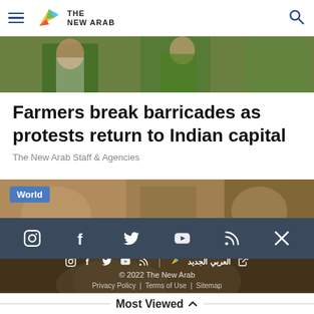The New Arab — navigation header with hamburger menu and search icon
[Figure (photo): Top hero image showing protesters with green flags/banners]
Farmers break barricades as protests return to Indian capital
The New Arab Staff & Agencies
[Figure (photo): Second image with World badge overlay showing market scene]
[Figure (screenshot): Dark social media bar with Instagram, Facebook, Twitter, YouTube, RSS, and X icons]
[Figure (photo): Bottom image of hands holding grain with footer overlay showing social icons, Arabic logo, copyright 2022 The New Arab, Privacy Policy, Terms of Use, Sitemap]
Most Viewed ^